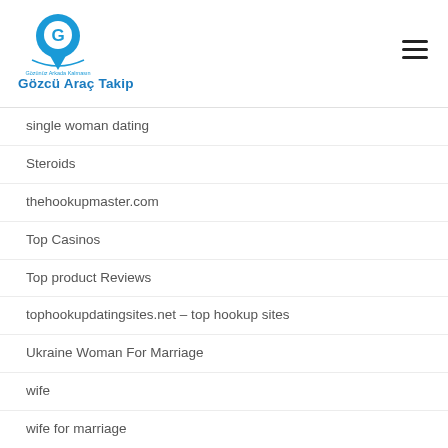[Figure (logo): Gözcü Araç Takip logo — blue map pin with letter G, arc lines, and Turkish tagline text 'Gözünüz Arkada Kalmasın']
single woman dating
Steroids
thehookupmaster.com
Top Casinos
Top product Reviews
tophookupdatingsites.net – top hookup sites
Ukraine Woman For Marriage
wife
wife for marriage
wives